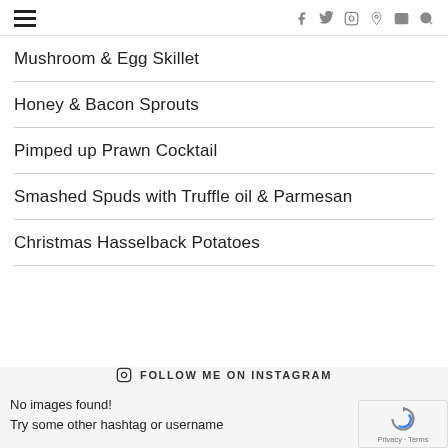Navigation header with hamburger menu and social icons (f, Twitter, Instagram, Pinterest, email, search)
Mushroom & Egg Skillet
Honey & Bacon Sprouts
Pimped up Prawn Cocktail
Smashed Spuds with Truffle oil & Parmesan
Christmas Hasselback Potatoes
FOLLOW ME ON INSTAGRAM
No images found!
Try some other hashtag or username